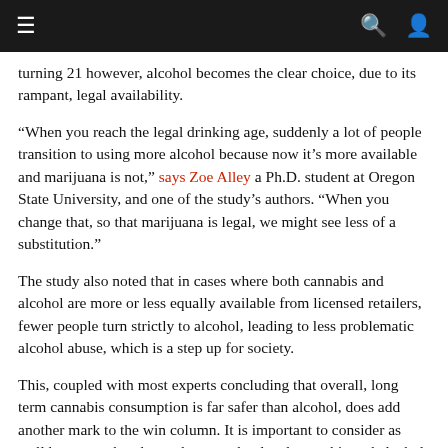≡  🔍  👤
turning 21 however, alcohol becomes the clear choice, due to its rampant, legal availability.
“When you reach the legal drinking age, suddenly a lot of people transition to using more alcohol because now it’s more available and marijuana is not,” says Zoe Alley a Ph.D. student at Oregon State University, and one of the study’s authors. “When you change that, so that marijuana is legal, we might see less of a substitution.”
The study also noted that in cases where both cannabis and alcohol are more or less equally available from licensed retailers, fewer people turn strictly to alcohol, leading to less problematic alcohol abuse, which is a step up for society.
This, coupled with most experts concluding that overall, long term cannabis consumption is far safer than alcohol, does add another mark to the win column. It is important to consider as well however, that the study notes that legal cannabis and alcohol did not have an effect on the use of harder drugs and substances.